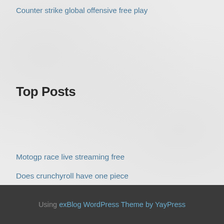Counter strike global offensive free play
Top Posts
Motogp race live streaming free
Does crunchyroll have one piece
Internet homebanking posted
How to setup your chromecast
The walking dead free comics download
Using exBlog WordPress Theme by YayPress